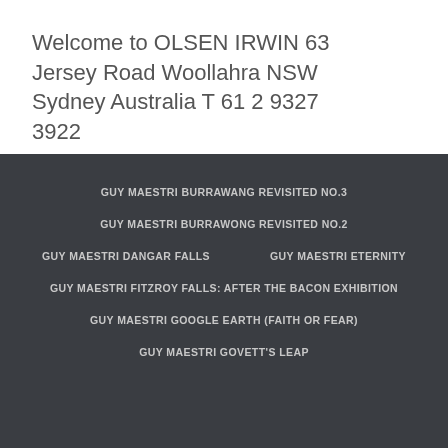Welcome to OLSEN IRWIN 63 Jersey Road Woollahra NSW Sydney Australia T 61 2 9327 3922
GUY MAESTRI BURRAWANG REVISITED NO.3
GUY MAESTRI BURRAWONG REVISITED NO.2
GUY MAESTRI DANGAR FALLS
GUY MAESTRI ETERNITY
GUY MAESTRI FITZROY FALLS: AFTER THE BACON EXHIBITION
GUY MAESTRI GOOGLE EARTH (FAITH OR FEAR)
GUY MAESTRI GOVETT'S LEAP